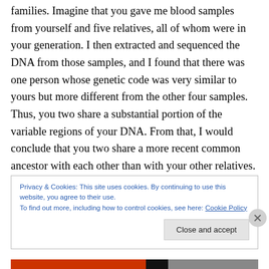families. Imagine that you gave me blood samples from yourself and five relatives, all of whom were in your generation. I then extracted and sequenced the DNA from those samples, and I found that there was one person whose genetic code was very similar to yours but more different from the other four samples. Thus, you two share a substantial portion of the variable regions of your DNA. From that, I would conclude that you two share a more recent common ancestor with each other than with your other relatives. In this case, that ancestor would probably be your parents (i.e., you're probably siblings). This should
Privacy & Cookies: This site uses cookies. By continuing to use this website, you agree to their use.
To find out more, including how to control cookies, see here: Cookie Policy